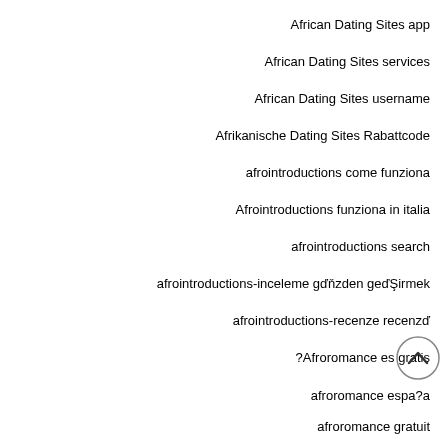African Dating Sites app
African Dating Sites services
African Dating Sites username
Afrikanische Dating Sites Rabattcode
afrointroductions come funziona
Afrointroductions funziona in italia
afrointroductions search
afrointroductions-inceleme gözden geçirmek
afrointroductions-recenze recenzí
?Afroromance es gratis
afroromance espa?a
afroromance gratuit